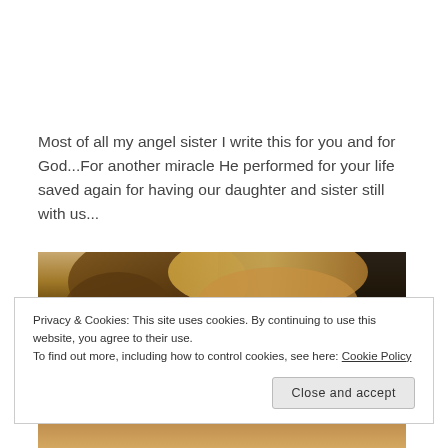Most of all my angel sister I write this for you and for God...For another miracle He performed for your life saved again for having our daughter and sister still with us...
[Figure (photo): Close-up photo of two women with brown and blonde hair, partially obscured by cookie consent banner overlay]
Privacy & Cookies: This site uses cookies. By continuing to use this website, you agree to their use.
To find out more, including how to control cookies, see here: Cookie Policy